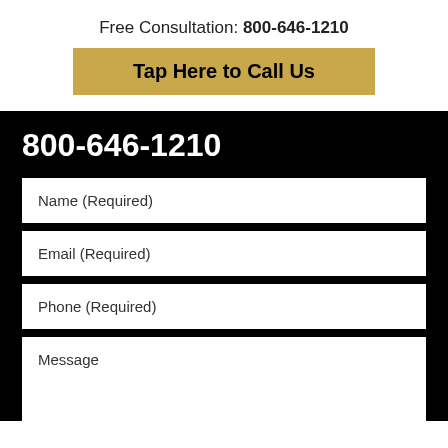Free Consultation: 800-646-1210
Tap Here to Call Us
800-646-1210
Name (Required)
Email (Required)
Phone (Required)
Message